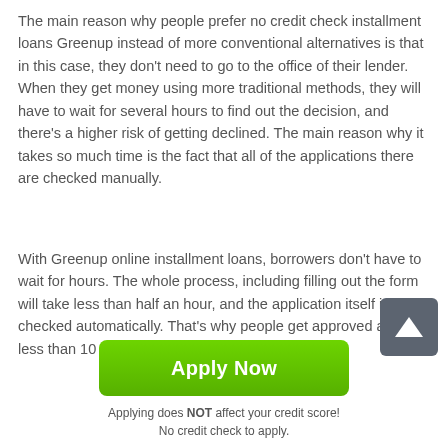The main reason why people prefer no credit check installment loans Greenup instead of more conventional alternatives is that in this case, they don't need to go to the office of their lender. When they get money using more traditional methods, they will have to wait for several hours to find out the decision, and there's a higher risk of getting declined. The main reason why it takes so much time is the fact that all of the applications there are checked manually.
With Greenup online installment loans, borrowers don't have to wait for hours. The whole process, including filling out the form will take less than half an hour, and the application itself is checked automatically. That's why people get approved after less than 10 minutes. In most
[Figure (other): Dark grey rounded square button with a white upward arrow icon (scroll to top button)]
Apply Now
Applying does NOT affect your credit score!
No credit check to apply.